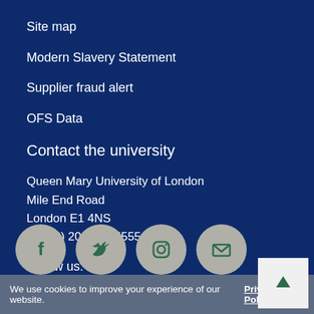Site map
Modern Slavery Statement
Supplier fraud alert
OFS Data
Contact the university
Queen Mary University of London
Mile End Road
London E1 4NS
+44 (0) 20 7882 5555
Follow us:
[Figure (other): Row of four social media icon circles: Facebook (f), Twitter (bird), Instagram (camera), Email (envelope). All on grey circular backgrounds.]
We use cookies to improve your experience of our website. Privacy Policy